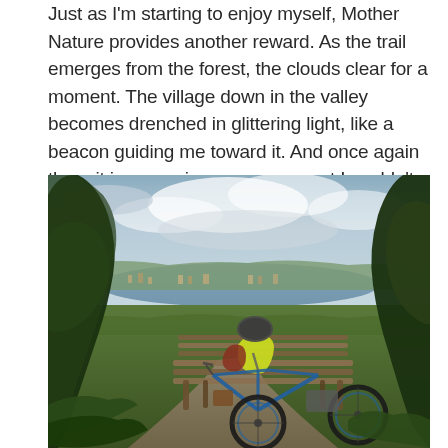Just as I'm starting to enjoy myself, Mother Nature provides another reward. As the trail emerges from the forest, the clouds clear for a moment. The village down in the valley becomes drenched in glittering light, like a beacon guiding me toward it. And once again there it is, a precious wow-moment I couldn't have planned.
[Figure (photo): A cyclist wearing a yellow jacket and helmet sits on a wooden bench at a scenic overlook, with a blue road/gravel bike leaning nearby. Pine trees frame the view of a valley town and a large lake or bay under a dramatic partly cloudy sky.]